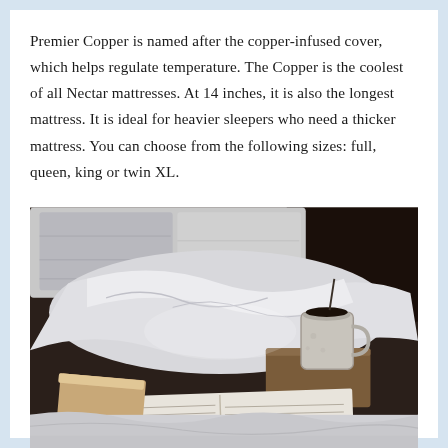Premier Copper is named after the copper-infused cover, which helps regulate temperature. The Copper is the coolest of all Nectar mattresses. At 14 inches, it is also the longest mattress. It is ideal for heavier sleepers who need a thicker mattress. You can choose from the following sizes: full, queen, king or twin XL.
[Figure (photo): A cozy bed scene with rumpled white sheets, two pillows in the background, an open book in the foreground, and a white mug resting on a small wooden board/tray on the bed. The background is dark and moody.]